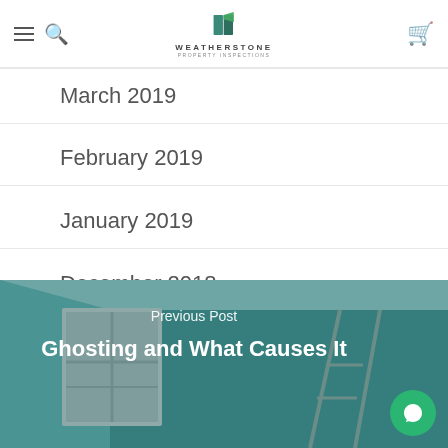Weatherstone Property Inspections
March 2019
February 2019
January 2019
December 2018
[Figure (photo): Interior room with teal/blue-green walls, a white-framed window on the left, and a ladder or easel visible on the right side. Overlaid with navigation text.]
Previous Post
Ghosting and What Causes It